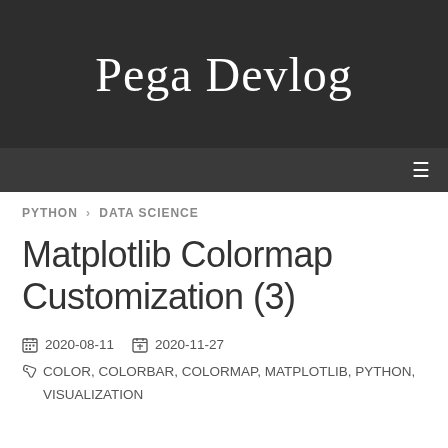Pega Devlog
PYTHON › DATA SCIENCE
Matplotlib Colormap Customization (3)
2020-08-11  2020-11-27
COLOR, COLORBAR, COLORMAP, MATPLOTLIB, PYTHON, VISUALIZATION